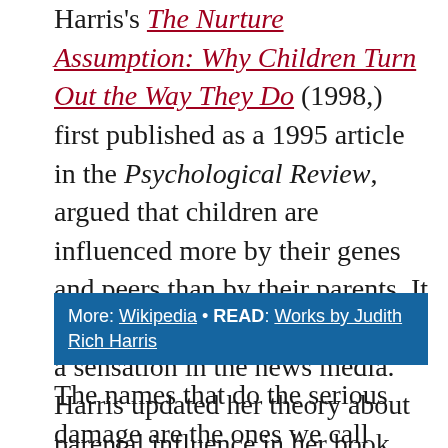Harris's The Nurture Assumption: Why Children Turn Out the Way They Do (1998,) first published as a 1995 article in the Psychological Review, argued that children are influenced more by their genes and peers than by their parents. It became a best seller and caused a sensation in the news media. Harris updated her theory about parental influence in her book No Two Alike: Human Nature and Human Individuality (2006.)
More: Wikipedia • READ: Works by Judith Rich Harris
The names that do the serious damage are the ones we call ourselves. The stereotypes